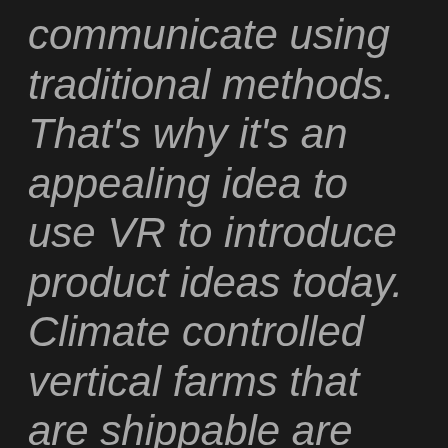communicate using traditional methods. That's why it's an appealing idea to use VR to introduce product ideas today. Climate controlled vertical farms that are shippable are extremely difficult to conceptualize for the average American. There is